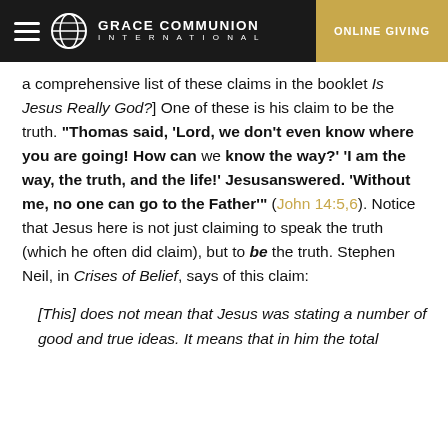GRACE COMMUNION INTERNATIONAL | ONLINE GIVING
a comprehensive list of these claims in the booklet Is Jesus Really God?] One of these is his claim to be the truth. "Thomas said, 'Lord, we don't even know where you are going! How can we know the way?' 'I am the way, the truth, and the life!' Jesusanswered. 'Without me, no one can go to the Father'" (John 14:5,6). Notice that Jesus here is not just claiming to speak the truth (which he often did claim), but to be the truth. Stephen Neil, in Crises of Belief, says of this claim:
[This] does not mean that Jesus was stating a number of good and true ideas. It means that in him the total